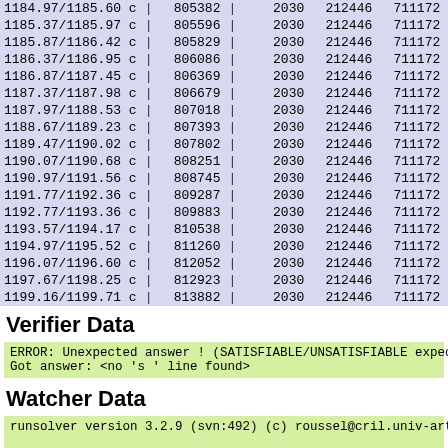| Range | | | Col2 | | | Col3 | Col4 | Col5 | | | Col6 |
| --- | --- | --- | --- | --- | --- | --- | --- | --- |
| 1184.97/1185.60 c | | | 805382 | | | 2030 | 212446 | 711172 | | | 2 |
| 1185.37/1185.97 c | | | 805596 | | | 2030 | 212446 | 711172 | | | 2 |
| 1185.87/1186.42 c | | | 805829 | | | 2030 | 212446 | 711172 | | | 2 |
| 1186.37/1186.95 c | | | 806086 | | | 2030 | 212446 | 711172 | | | 2 |
| 1186.87/1187.45 c | | | 806369 | | | 2030 | 212446 | 711172 | | | 2 |
| 1187.37/1187.98 c | | | 806679 | | | 2030 | 212446 | 711172 | | | 2 |
| 1187.97/1188.53 c | | | 807018 | | | 2030 | 212446 | 711172 | | | 2 |
| 1188.67/1189.23 c | | | 807393 | | | 2030 | 212446 | 711172 | | | 2 |
| 1189.47/1190.02 c | | | 807802 | | | 2030 | 212446 | 711172 | | | 2 |
| 1190.07/1190.68 c | | | 808251 | | | 2030 | 212446 | 711172 | | | 2 |
| 1190.97/1191.56 c | | | 808745 | | | 2030 | 212446 | 711172 | | | 2 |
| 1191.77/1192.36 c | | | 809287 | | | 2030 | 212446 | 711172 | | | 2 |
| 1192.77/1193.36 c | | | 809883 | | | 2030 | 212446 | 711172 | | | 2 |
| 1193.57/1194.17 c | | | 810538 | | | 2030 | 212446 | 711172 | | | 2 |
| 1194.97/1195.52 c | | | 811260 | | | 2030 | 212446 | 711172 | | | 2 |
| 1196.07/1196.60 c | | | 812052 | | | 2030 | 212446 | 711172 | | | 2 |
| 1197.67/1198.25 c | | | 812923 | | | 2030 | 212446 | 711172 | | | 2 |
| 1199.16/1199.71 c | | | 813882 | | | 2030 | 212446 | 711172 | | | 2 |
Verifier Data
ERROR: Unexpected answer ! (SATISFIABLE/UNSATISFIABLE expecte
Got answer: <no 's ' line found>
Watcher Data
runsolver version 3.2.9 (svn:492) (c) roussel@cril.univ-artoi

command line: BIN/runsolver --timestamp -w /tmp/evaluation-re